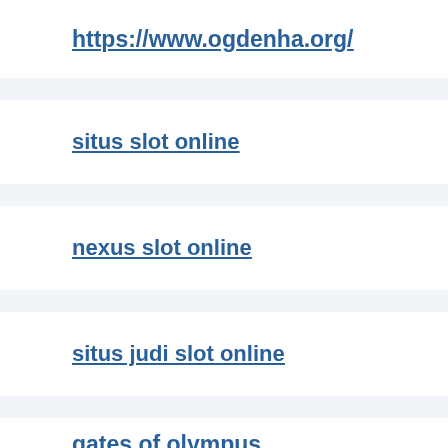https://www.ogdenha.org/
situs slot online
nexus slot online
situs judi slot online
gates of olympus